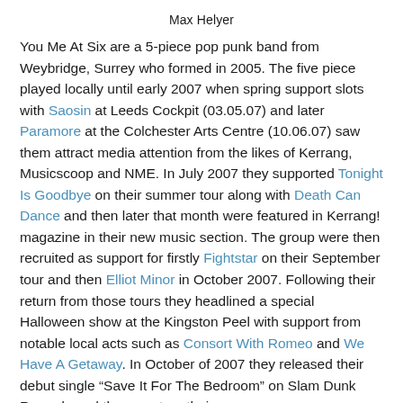Max Helyer
You Me At Six are a 5-piece pop punk band from Weybridge, Surrey who formed in 2005. The five piece played locally until early 2007 when spring support slots with Saosin at Leeds Cockpit (03.05.07) and later Paramore at the Colchester Arts Centre (10.06.07) saw them attract media attention from the likes of Kerrang, Musicscoop and NME. In July 2007 they supported Tonight Is Goodbye on their summer tour along with Death Can Dance and then later that month were featured in Kerrang! magazine in their new music section. The group were then recruited as support for firstly Fightstar on their September tour and then Elliot Minor in October 2007. Following their return from those tours they headlined a special Halloween show at the Kingston Peel with support from notable local acts such as Consort With Romeo and We Have A Getaway. In October of 2007 they released their debut single “Save It For The Bedroom” on Slam Dunk Records and then went on their